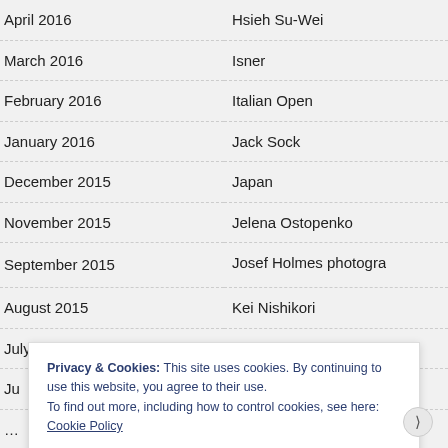| Date | Entry |
| --- | --- |
| April 2016 | Hsieh Su-Wei |
| March 2016 | Isner |
| February 2016 | Italian Open |
| January 2016 | Jack Sock |
| December 2015 | Japan |
| November 2015 | Jelena Ostopenko |
| September 2015 | Josef Holmes photogra… |
| August 2015 | Kei Nishikori |
| July 2015 | Kevin Anderson |
| Ju… | … |
Privacy & Cookies: This site uses cookies. By continuing to use this website, you agree to their use.
To find out more, including how to control cookies, see here: Cookie Policy
Close and accept